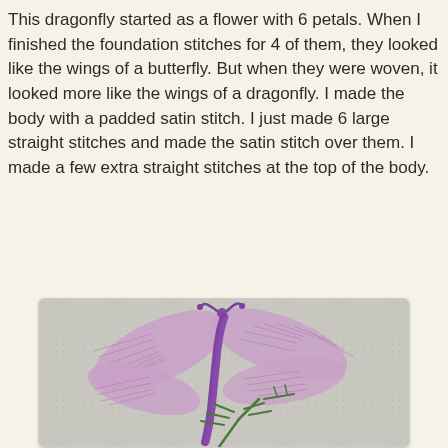This dragonfly started as a flower with 6 petals. When I finished the foundation stitches for 4 of them, they looked like the wings of a butterfly. But when they were woven, it looked more like the wings of a dragonfly. I made the body with a padded satin stitch. I just made 6 large straight stitches and made the satin stitch over them. I made a few extra straight stitches at the top of the body.
[Figure (photo): Embroidered dragonfly on light grey canvas fabric. The dragonfly has four wings in light lavender/purple woven stitches and a darker purple padded satin stitch body. At the bottom of the image are green embroidered plant stems with small leaf branches.]